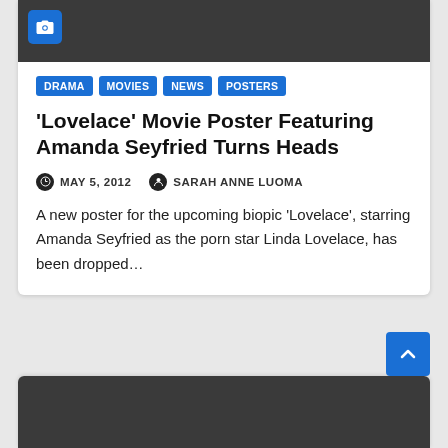[Figure (screenshot): Dark gray image placeholder with a camera icon in a blue square at top left]
DRAMA
MOVIES
NEWS
POSTERS
'Lovelace' Movie Poster Featuring Amanda Seyfried Turns Heads
MAY 5, 2012   SARAH ANNE LUOMA
A new poster for the upcoming biopic 'Lovelace', starring Amanda Seyfried as the porn star Linda Lovelace, has been dropped…
[Figure (screenshot): Dark gray image placeholder at the bottom of the page, with a blue scroll-to-top button]